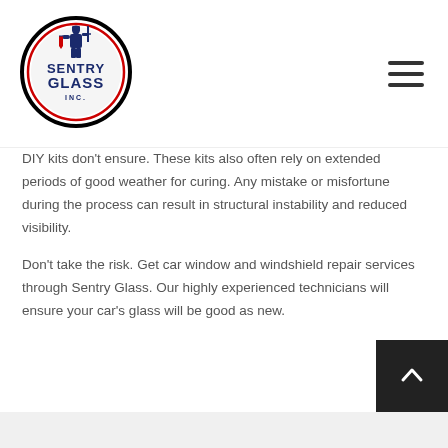[Figure (logo): Sentry Glass Inc. circular logo with knight silhouette and bold text]
DIY kits don't ensure. These kits also often rely on extended periods of good weather for curing. Any mistake or misfortune during the process can result in structural instability and reduced visibility.
Don't take the risk. Get car window and windshield repair services through Sentry Glass. Our highly experienced technicians will ensure your car's glass will be good as new.